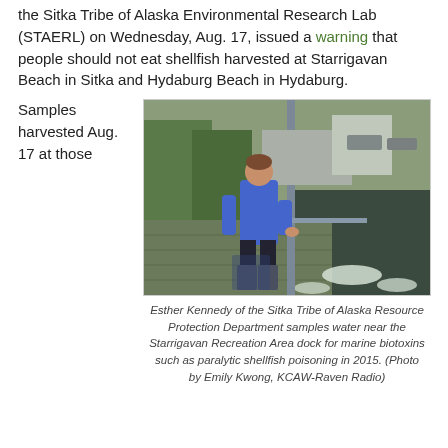the Sitka Tribe of Alaska Environmental Research Lab (STAERL) on Wednesday, Aug. 17, issued a warning that people should not eat shellfish harvested at Starrigavan Beach in Sitka and Hydaburg Beach in Hydaburg.
Samples harvested Aug. 17 at those
[Figure (photo): Person in blue jacket and rubber boots standing on a dock near water, sampling for marine biotoxins at Starrigavan Recreation Area dock.]
Esther Kennedy of the Sitka Tribe of Alaska Resource Protection Department samples water near the Starrigavan Recreation Area dock for marine biotoxins such as paralytic shellfish poisoning in 2015. (Photo by Emily Kwong, KCAW-Raven Radio)